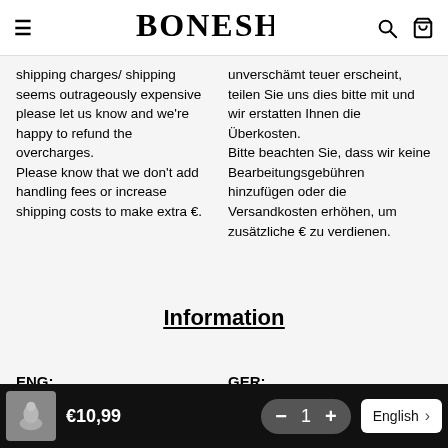BONESHOP
shipping charges/ shipping seems outrageously expensive please let us know and we're happy to refund the overcharges.
Please know that we don't add handling fees or increase shipping costs to make extra €.
unverschämt teuer erscheint, teilen Sie uns dies bitte mit und wir erstatten Ihnen die Überkosten.
Bitte beachten Sie, dass wir keine Bearbeitungsgebühren hinzufügen oder die Versandkosten erhöhen, um zusätzliche € zu verdienen.
Information
ENG:
GER:
Alle anderen Objekte außer